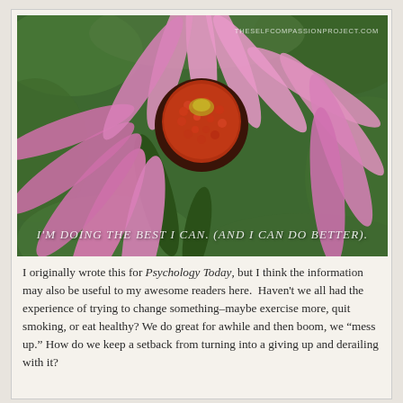[Figure (photo): Close-up photo of a pink echinacea (coneflower) with a red-orange spiky center cone, set against a blurred green background. White overlay text reads: I'M DOING THE BEST I CAN. (AND I CAN DO BETTER). Watermark in top-right: THESELFCOMPASSIONPROJECT.COM]
I originally wrote this for Psychology Today, but I think the information may also be useful to my awesome readers here.  Haven't we all had the experience of trying to change something–maybe exercise more, quit smoking, or eat healthy? We do great for awhile and then boom, we "mess up." How do we keep a setback from turning into a giving up and derailing with it?